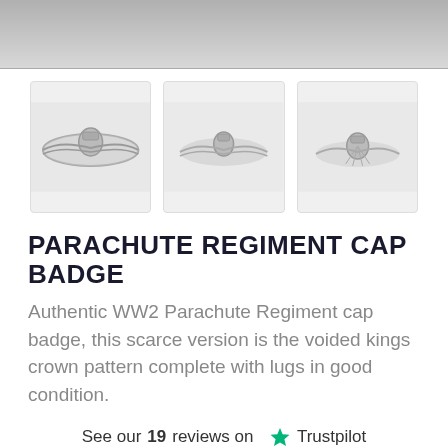[Figure (photo): Top banner showing a grey metallic background]
[Figure (photo): Three thumbnail images of a silver Parachute Regiment cap badge from different angles]
PARACHUTE REGIMENT CAP BADGE
Authentic WW2 Parachute Regiment cap badge, this scarce version is the voided kings crown pattern complete with lugs in good condition.
See our 19 reviews on Trustpilot
Product ID: 683